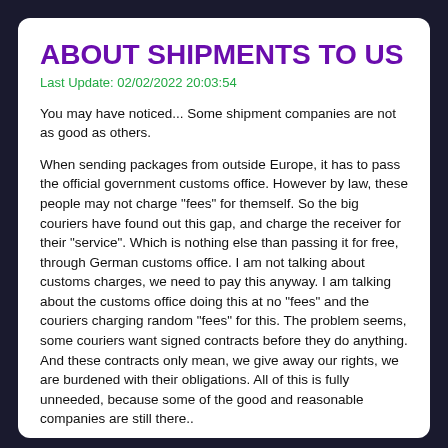ABOUT SHIPMENTS TO US
Last Update: 02/02/2022 20:03:54
You may have noticed... Some shipment companies are not as good as others.
When sending packages from outside Europe, it has to pass the official government customs office. However by law, these people may not charge "fees" for themself. So the big couriers have found out this gap, and charge the receiver for their "service". Which is nothing else than passing it for free, through German customs office. I am not talking about customs charges, we need to pay this anyway. I am talking about the customs office doing this at no "fees" and the couriers charging random "fees" for this. The problem seems, some couriers want signed contracts before they do anything. And these contracts only mean, we give away our rights, we are burdened with their obligations. All of this is fully unneeded, because some of the good and reasonable companies are still there..
For this reason, we recommend in the first place FEDERAL